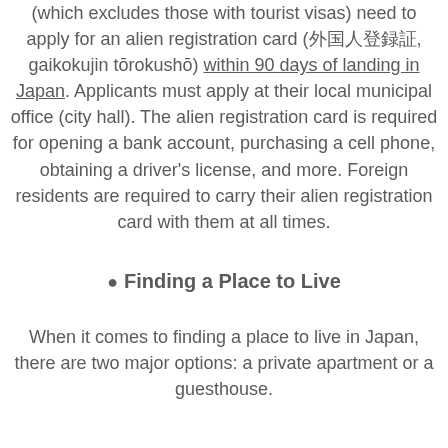(which excludes those with tourist visas) need to apply for an alien registration card (外国人登録証, gaikokujin tōrokushō) within 90 days of landing in Japan. Applicants must apply at their local municipal office (city hall). The alien registration card is required for opening a bank account, purchasing a cell phone, obtaining a driver's license, and more. Foreign residents are required to carry their alien registration card with them at all times.
Finding a Place to Live
When it comes to finding a place to live in Japan, there are two major options: a private apartment or a guesthouse.